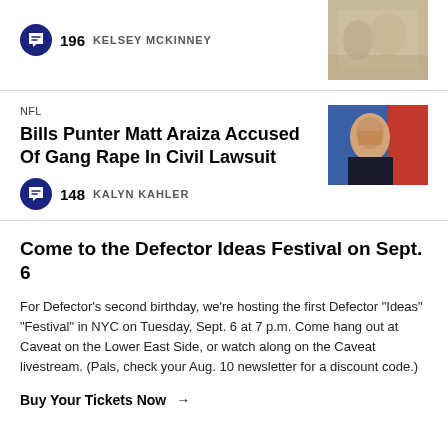196  KELSEY MCKINNEY
[Figure (photo): Thumbnail photo of a sports event]
NFL
Bills Punter Matt Araiza Accused Of Gang Rape In Civil Lawsuit
148  KALYN KAHLER
[Figure (photo): Photo of Matt Araiza at a press event against a blue and red background]
Come to the Defector Ideas Festival on Sept. 6
For Defector's second birthday, we're hosting the first Defector "Ideas" "Festival" in NYC on Tuesday, Sept. 6 at 7 p.m. Come hang out at Caveat on the Lower East Side, or watch along on the Caveat livestream. (Pals, check your Aug. 10 newsletter for a discount code.)
Buy Your Tickets Now →